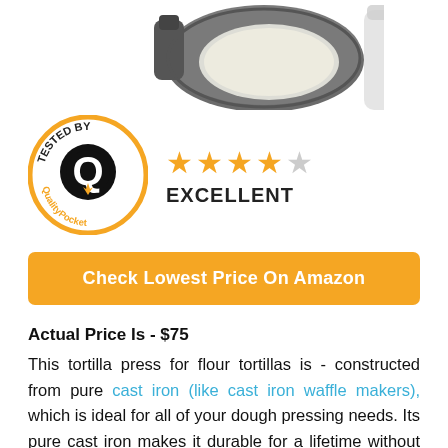[Figure (photo): Partial top view of a tortilla press made of dark gray cast iron, with a round pressed dough visible inside, on a white background.]
[Figure (logo): Circular badge reading 'TESTED BY QualityPocket' with a Q logo and flame icon in gold/black/white colors.]
[Figure (infographic): Star rating showing 4 filled orange stars and 1 empty/gray star, labeled EXCELLENT below.]
Check Lowest Price On Amazon
Actual Price Is - $75
This tortilla press for flour tortillas is - constructed from pure cast iron (like cast iron waffle makers), which is ideal for all of your dough pressing needs. Its pure cast iron makes it durable for a lifetime without you having to buy another one. Plus, it is - seasoned with 100% pure non-GMO flaxseed